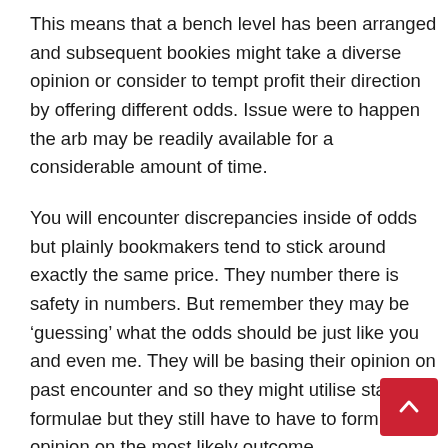This means that a bench level has been arranged and subsequent bookies might take a diverse opinion or consider to tempt profit their direction by offering different odds. Issue were to happen the arb may be readily available for a considerable amount of time.
You will encounter discrepancies inside of odds but plainly bookmakers tend to stick around exactly the same price. They number there is safety in numbers. But remember they may be ‘guessing’ what the odds should be just like you and even me. They will be basing their opinion on past encounter and so they might utilise statistical formulae but they still have to have to form an opinion on the most likely outcome.